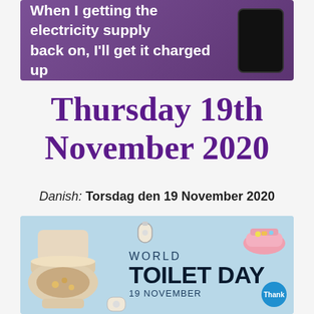[Figure (photo): Dark purple/mauve background image with white bold text reading 'When I getting the electricity supply back on, I'll get it charged up' with a mobile phone visible on the right side]
Thursday 19th November 2020
Danish: Torsdag den 19 November 2020
[Figure (illustration): World Toilet Day 19 November illustration on light blue background with a decorative toilet on the left, toilet paper roll icon, pink bathtub, and text 'WORLD TOILET DAY 19 NOVEMBER' with a 'Thank' badge circle in bottom right]